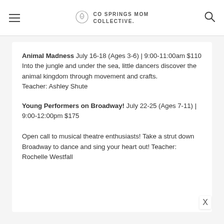CO SPRINGS MOM COLLECTIVE.
Animal Madness July 16-18 (Ages 3-6) | 9:00-11:00am $110
Into the jungle and under the sea, little dancers discover the animal kingdom through movement and crafts.
Teacher: Ashley Shute
Young Performers on Broadway! July 22-25 (Ages 7-11) | 9:00-12:00pm $175

Open call to musical theatre enthusiasts! Take a strut down Broadway to dance and sing your heart out! Teacher: Rochelle Westfall